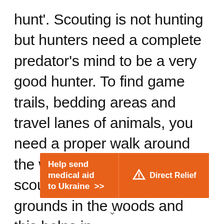hunt'. Scouting is not hunting but hunters need a complete predator's mind to be a very good hunter. To find game trails, bedding areas and travel lanes of animals, you need a proper walk around the woods. Some hunters scout by just covering few grounds in the woods and this helps in
[Figure (infographic): Orange advertisement banner reading 'Help send medical aid to Ukraine >>' with Direct Relief logo on the right side]
v